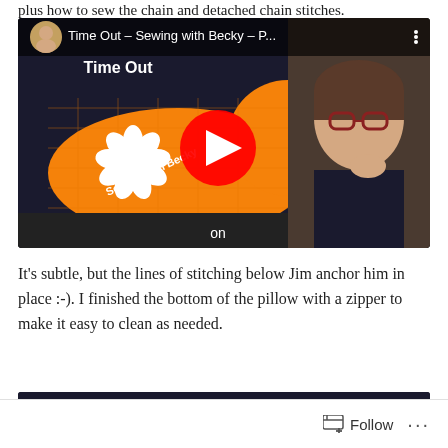plus how to sew the chain and detached chain stitches.
[Figure (screenshot): YouTube video thumbnail for 'Time Out – Sewing with Becky – P...' showing an orange cat appliqué with a white flower design labeled 'Sewing with Becky' and a woman with glasses on the right side, with a red YouTube play button in the center.]
It's subtle, but the lines of stitching below Jim anchor him in place :-). I finished the bottom of the pillow with a zipper to make it easy to clean as needed.
[Figure (photo): Partial view of a dark navy fabric with colorful embroidery or print designs, partially cut off at bottom of page.]
Follow ...